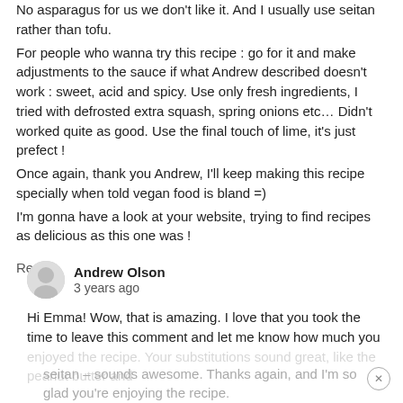No asparagus for us we don't like it. And I usually use seitan rather than tofu.
For people who wanna try this recipe : go for it and make adjustments to the sauce if what Andrew described doesn't work : sweet, acid and spicy. Use only fresh ingredients, I tried with defrosted extra squash, spring onions etc... Didn't worked quite as good. Use the final touch of lime, it's just prefect !
Once again, thank you Andrew, I'll keep making this recipe specially when told vegan food is bland =)
I'm gonna have a look at your website, trying to find recipes as delicious as this one was !
Reply
Andrew Olson
3 years ago
Hi Emma! Wow, that is amazing. I love that you took the time to leave this comment and let me know how much you enjoyed the recipe. Your substitutions sound great, like the peanut butter and seitan – sounds awesome. Thanks again, and I'm so glad you're enjoying the recipe.